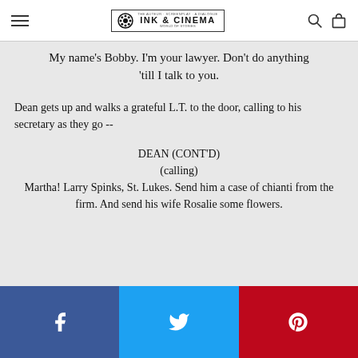INK & CINEMA
My name's Bobby. I'm your lawyer. Don't do anything 'till I talk to you.
Dean gets up and walks a grateful L.T. to the door, calling to his secretary as they go --
DEAN (CONT'D)
(calling)
Martha! Larry Spinks, St. Lukes. Send him a case of chianti from the firm. And send his wife Rosalie some flowers.